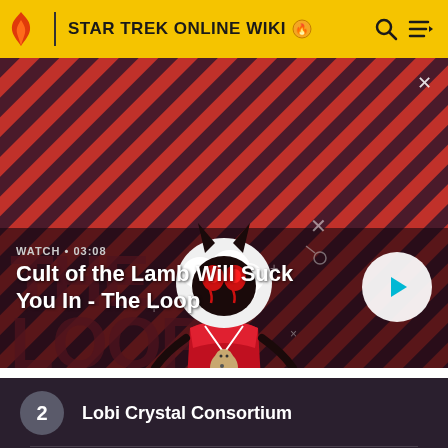STAR TREK ONLINE WIKI
[Figure (screenshot): Video thumbnail showing animated character from Cult of the Lamb on a red and dark purple diagonal striped background. Character is a white lamb with devil horns, red eyes, wearing a red outfit and holding a doll. Text 'THE LOOP' visible in background. Watch time shows 03:08. A white circular play button is in the lower right.]
WATCH • 03:08
Cult of the Lamb Will Suck You In - The Loop
2  Lobi Crystal Consortium